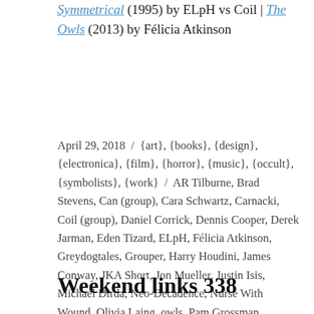Symmetrical (1995) by ELpH vs Coil | The Owls (2013) by Félicia Atkinson
April 29, 2018 / {art}, {books}, {design}, {electronica}, {film}, {horror}, {music}, {occult}, {symbolists}, {work} / AR Tilburne, Brad Stevens, Can (group), Cara Schwartz, Carnacki, Coil (group), Daniel Corrick, Dennis Cooper, Derek Jarman, Eden Tizard, ELpH, Félicia Atkinson, Greydogtales, Grouper, Harry Houdini, James Conway, JKA Short, Jon Mueller, Justin Isis, Michael Dirda, Neo-Decadence, Nurse With Wound, Olivia Laing, owls, Pam Grossman, Rixdorf Editions, Rob Young, Ruth White, Sam Gafford, Snuggly Books, stained glass, Swan River Press, The Ephemeral Man, The Owl Service, William Hope Hodgson / 3 Comments
Weekend links 338